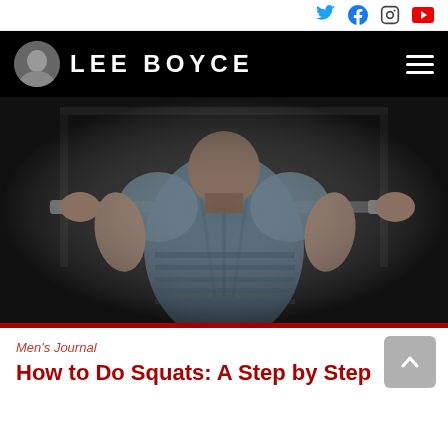LEE BOYCE — website header with social icons (Twitter, Facebook, Instagram, YouTube)
[Figure (photo): Back view of a muscular man in a gym, gripping a barbell across his shoulders, preparing to squat. Dark dramatic lighting with gym equipment in background.]
Men's Journal
How to Do Squats: A Step by Step